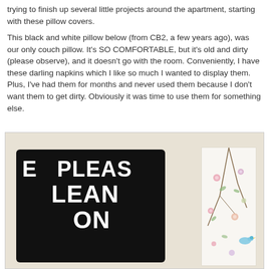trying to finish up several little projects around the apartment, starting with these pillow covers.
This black and white pillow below (from CB2, a few years ago), was our only couch pillow. It's SO COMFORTABLE, but it's old and dirty (please observe), and it doesn't go with the room. Conveniently, I have these darling napkins which I like so much I wanted to display them. Plus, I've had them for months and never used them because I don't want them to get dirty. Obviously it was time to use them for something else.
[Figure (photo): A black pillow with white text reading 'PLEASE LEAN ON' next to a floral patterned napkin/fabric with birds, placed against a light-colored background.]